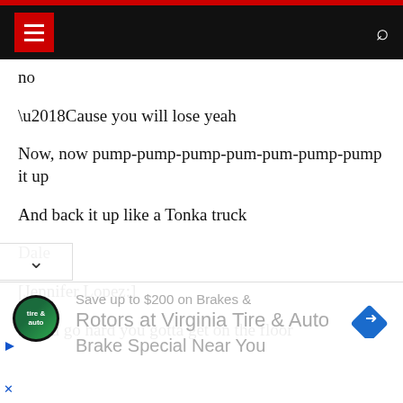Navigation bar with menu and search
no
‘Cause you will lose yeah
Now, now pump-pump-pump-pum-pum-pump-pump it up
And back it up like a Tonka truck
Dale
[Jennifer Lopez:]
If you go hard you gotta get on the floor
[Figure (screenshot): Advertisement banner for Virginia Tire & Auto showing brake special promotion with logo, text, and navigation arrow icon]